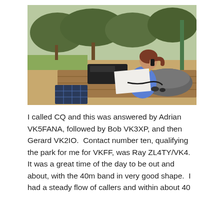[Figure (photo): A woman in a blue shirt sitting on a wooden deck at a park, operating a handheld radio transceiver. Radio equipment and a bag are on the deck beside her. Trees and dry grass are visible in the background.]
I called CQ and this was answered by Adrian VK5FANA, followed by Bob VK3XP, and then Gerard VK2IO.  Contact number ten, qualifying the park for me for VKFF, was Ray ZL4TY/VK4.  It was a great time of the day to be out and about, with the 40m band in very good shape.  I had a steady flow of callers and within about 40